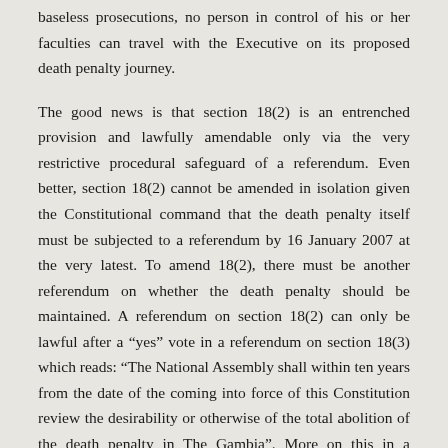baseless prosecutions, no person in control of his or her faculties can travel with the Executive on its proposed death penalty journey.
The good news is that section 18(2) is an entrenched provision and lawfully amendable only via the very restrictive procedural safeguard of a referendum. Even better, section 18(2) cannot be amended in isolation given the Constitutional command that the death penalty itself must be subjected to a referendum by 16 January 2007 at the very latest. To amend 18(2), there must be another referendum on whether the death penalty should be maintained. A referendum on section 18(2) can only be lawful after a “yes” vote in a referendum on section 18(3) which reads: “The National Assembly shall within ten years from the date of the coming into force of this Constitution review the desirability or otherwise of the total abolition of the death penalty in The Gambia”. More on this in a separate piece!